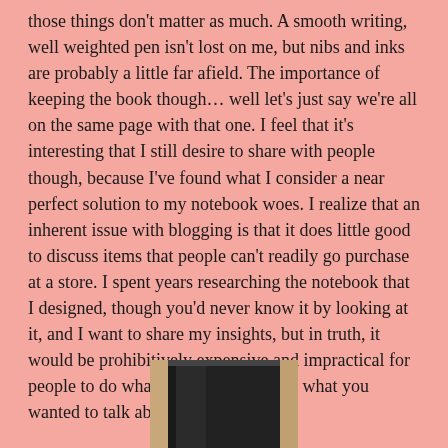those things don't matter as much. A smooth writing, well weighted pen isn't lost on me, but nibs and inks are probably a little far afield. The importance of keeping the book though… well let's just say we're all on the same page with that one. I feel that it's interesting that I still desire to share with people though, because I've found what I consider a near perfect solution to my notebook woes. I realize that an inherent issue with blogging is that it does little good to discuss items that people can't readily go purchase at a store. I spent years researching the notebook that I designed, though you'd never know it by looking at it, and I want to share my insights, but in truth, it would be prohibitively expensive and impractical for people to do what I did. I think this is what you wanted to talk about.
[Figure (photo): A dark-colored notebook photographed from above on a light wooden surface, showing the top edge and cover of the book]